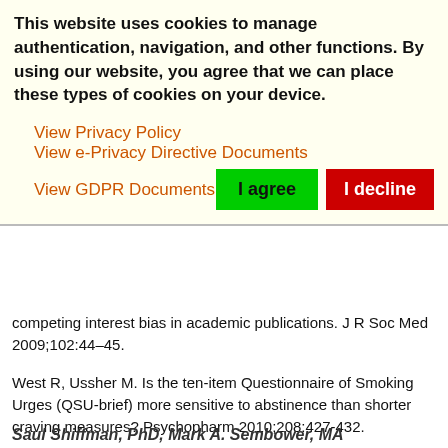This website uses cookies to manage authentication, navigation, and other functions. By using our website, you agree that we can place these types of cookies on your device.
View Privacy Policy
View e-Privacy Directive Documents
View GDPR Documents
competing interest bias in academic publications. J R Soc Med 2009;102:44–45.
West R, Ussher M. Is the ten-item Questionnaire of Smoking Urges (QSU-brief) more sensitive to abstinence than shorter craving measures? Psychopharm 2010;208:427-432.
Saul Shiffman, PhD, Mark A. Sembower, MA